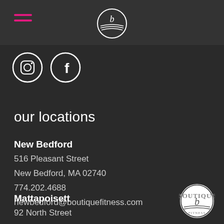[Figure (logo): Dark header bar with hamburger menu icon (pink/magenta lines) on the left and a circular boutique fitness logo in the center]
[Figure (logo): Instagram and Facebook circular social media icons in white]
our locations
New Bedford
516 Pleasant Street
New Bedford, MA 02740
774.202.4688
newbedford@boutiquefitness.com
Mattapoisett
92 North Street
Mattapoisett, MA 02739
508.758.4000
[Figure (logo): Boutique Fitness circular logo watermark in bottom right corner]